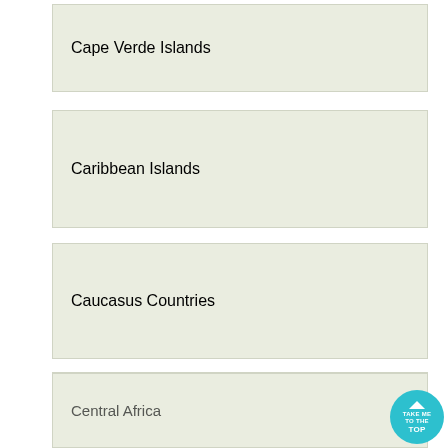Cape Verde Islands
Caribbean Islands
Caucasus Countries
Cayman Islands
Central Africa